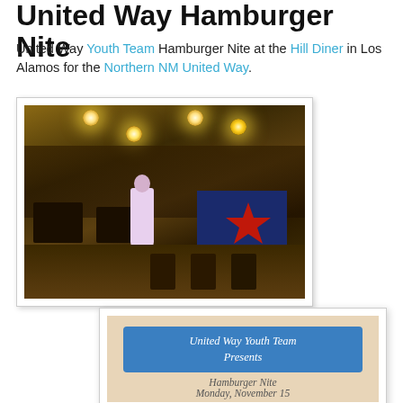United Way Hamburger Nite
United Way Youth Team Hamburger Nite at the Hill Diner in Los Alamos for the Northern NM United Way.
[Figure (photo): Interior of Hill Diner during Hamburger Nite event, showing people in costumes including a figure in a pink/white dress, festive lighting, and a red star decoration on a blue backdrop.]
[Figure (photo): Sign reading 'United Way Youth Team Presents Hamburger Nite Monday, November 15' with a blue banner header on a beige/tan background.]